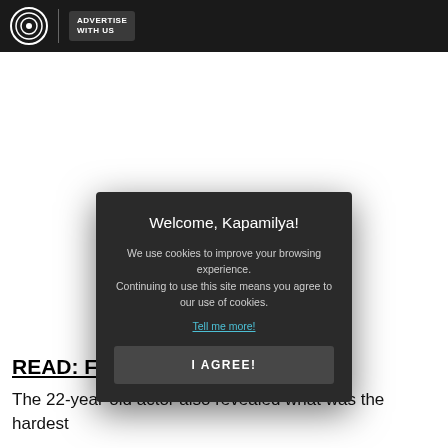ABS-CBN | ADVERTISE WITH US
READ: Fran... o join forces for...
The 22-year-old actor also revealed what was the hardest
[Figure (screenshot): Cookie consent modal dialog on ABS-CBN website with title 'Welcome, Kapamilya!', cookie usage notice, 'Tell me more!' link, and 'I AGREE!' button]
Welcome, Kapamilya!
We use cookies to improve your browsing experience.
Continuing to use this site means you agree to our use of cookies.
Tell me more!
I AGREE!